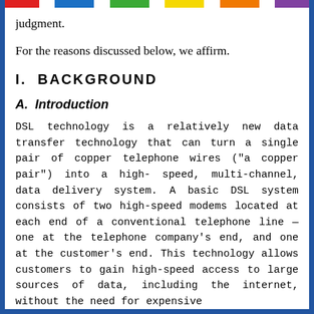judgment.
For the reasons discussed below, we affirm.
I.  BACKGROUND
A.  Introduction
DSL technology is a relatively new data transfer technology that can turn a single pair of copper telephone wires ("a copper pair") into a high-speed, multi-channel, data delivery system. A basic DSL system consists of two high-speed modems located at each end of a conventional telephone line — one at the telephone company's end, and one at the customer's end. This technology allows customers to gain high-speed access to large sources of data, including the internet, without the need for expensive